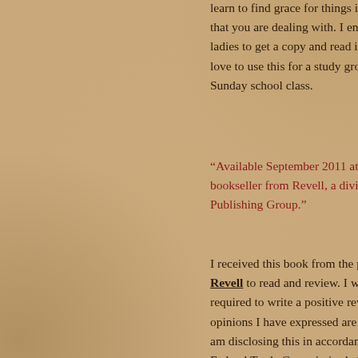learn to find grace for things in your life that you are dealing with. I encourage ladies to get a copy and read it! I would love to use this for a study group or a Sunday school class.
“Available September 2011 at your favorite bookseller from Revell, a division of Baker Publishing Group.”
I received this book from the publisher Revell to read and review. I was not required to write a positive review. The opinions I have expressed are my own. I am disclosing this in accordance with the Federal Trade Commission’s 16 CFR
Purchase at Amazon
[Figure (other): Star rating widget showing 5 empty stars followed by an info icon, with text 'Rate This' and label 'Rate this:']
Share this:
[Figure (other): Tweet button (blue rounded) and More button (grey with share icon)]
[Figure (other): Like button with star icon]
Be the first to like this.